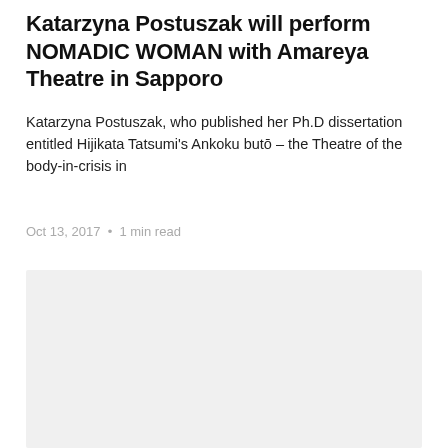Katarzyna Postuszak will perform NOMADIC WOMAN with Amareya Theatre in Sapporo
Katarzyna Postuszak, who published her Ph.D dissertation entitled Hijikata Tatsumi's Ankoku butō – the Theatre of the body-in-crisis in
Oct 13, 2017  •  1 min read
[Figure (photo): Gray placeholder image block]